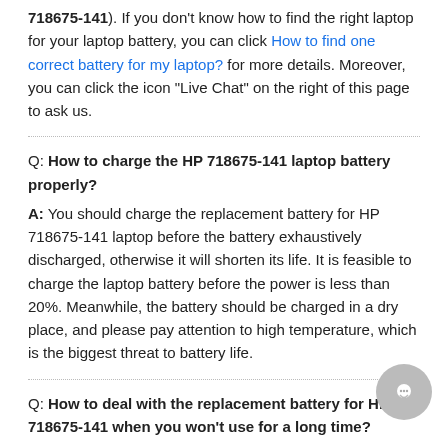718675-141). If you don't know how to find the right laptop for your laptop battery, you can click How to find one correct battery for my laptop? for more details. Moreover, you can click the icon "Live Chat" on the right of this page to ask us.
Q: How to charge the HP 718675-141 laptop battery properly?
A: You should charge the replacement battery for HP 718675-141 laptop before the battery exhaustively discharged, otherwise it will shorten its life. It is feasible to charge the laptop battery before the power is less than 20%. Meanwhile, the battery should be charged in a dry place, and please pay attention to high temperature, which is the biggest threat to battery life.
Q: How to deal with the replacement battery for HP 718675-141 when you won't use for a long time?
A: If you let your HP 718675-141 laptop battery lay idle for a